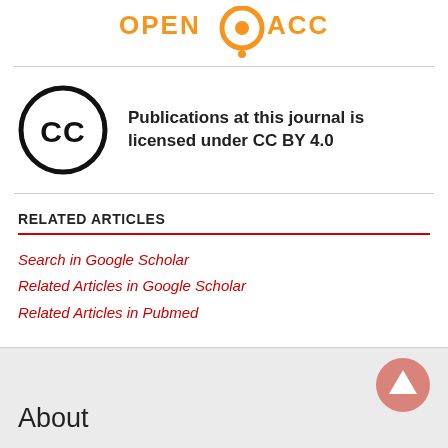[Figure (logo): Open Access logo with orange circle and text OPEN ACCESS]
[Figure (logo): Creative Commons CC logo circle with text: Publications at this journal is licensed under CC BY 4.0]
Publications at this journal is licensed under CC BY 4.0
RELATED ARTICLES
Search in Google Scholar
Related Articles in Google Scholar
Related Articles in Pubmed
About